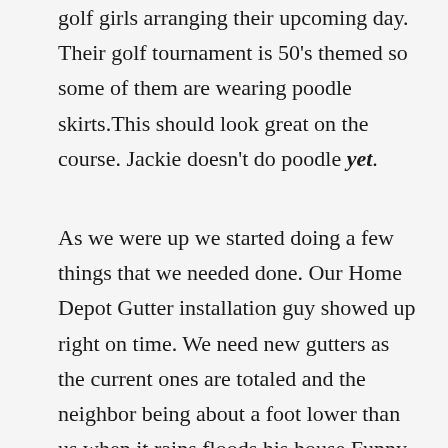golf girls arranging their upcoming day. Their golf tournament is 50's themed so some of them are wearing poodle skirts.This should look great on the course. Jackie doesn't do poodle yet.
As we were up we started doing a few things that we needed done. Our Home Depot Gutter installation guy showed up right on time. We need new gutters as the current ones are totaled and the neighbor being about a foot lower than us when it rains floods his house.Funny thing I sold vinyl gutters for 15 years and had a great sales pitch and was confident in them performing well. Wrong ! Hot heat and vinyl don't go together. I have 1″ gaps at the junctions and the trough is warped so water runs behind it instead